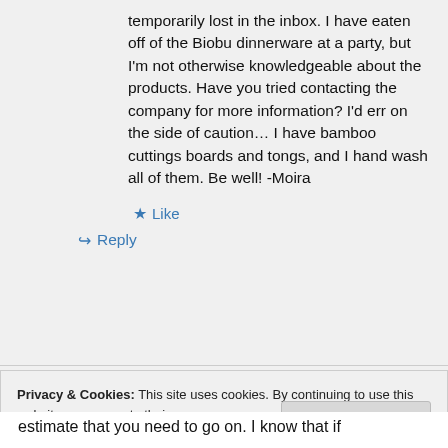temporarily lost in the inbox. I have eaten off of the Biobu dinnerware at a party, but I'm not otherwise knowledgeable about the products. Have you tried contacting the company for more information? I'd err on the side of caution... I have bamboo cuttings boards and tongs, and I hand wash all of them. Be well! -Moira
★ Like
↪ Reply
Privacy & Cookies: This site uses cookies. By continuing to use this website, you agree to their use.
To find out more, including how to control cookies, see here: Cookie Policy
Close and accept
estimate that you need to go on. I know that if